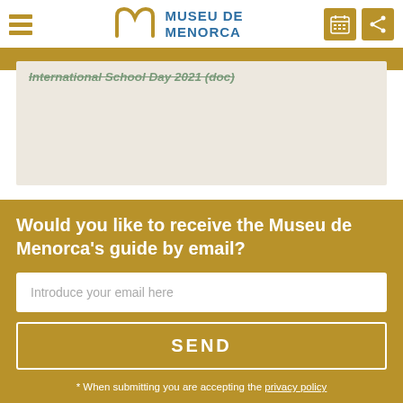Museu de Menorca
International School Day 2021 (doc)
Would you like to receive the Museu de Menorca's guide by email?
Introduce your email here
SEND
* When submitting you are accepting the privacy policy